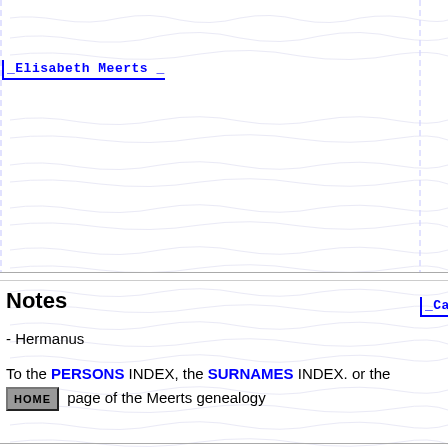_Elisabeth Meerts _
_Catharina Asselbergh ___
Notes
- Hermanus
To the PERSONS INDEX, the SURNAMES INDEX. or the HOME page of the Meerts genealogy